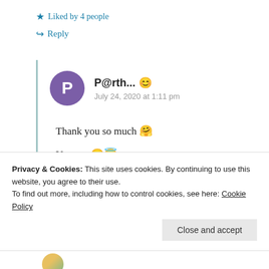★ Liked by 4 people
↪ Reply
P@rth...😊
July 24, 2020 at 1:11 pm
Thank you so much 🤗
You too 😊😇
Privacy & Cookies: This site uses cookies. By continuing to use this website, you agree to their use.
To find out more, including how to control cookies, see here: Cookie Policy
Close and accept